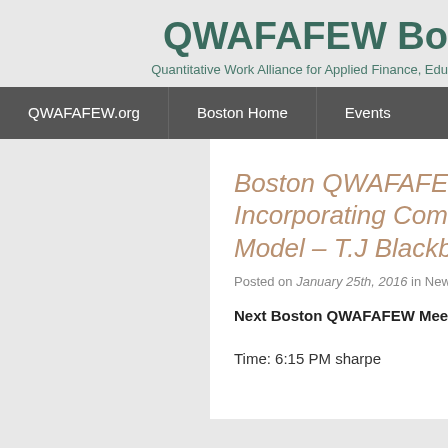QWAFAFEW Bo
Quantitative Work Alliance for Applied Finance, Edu
QWAFAFEW.org | Boston Home | Events
Boston QWAFAFEW Meeting Incorporating Commodities into Model – T.J Blackburn
Posted on January 25th, 2016 in News & Updates - 0 C
Next Boston QWAFAFEW Meeting: Tue
Time: 6:15 PM sharpe